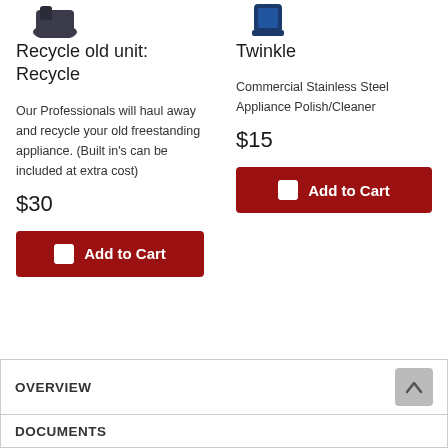[Figure (photo): Product image top left (cropped, dark colored appliance/product)]
[Figure (photo): Product image top right (cropped, blue colored product - Twinkle cleaner)]
Recycle old unit: Recycle
Twinkle
Our Professionals will haul away and recycle your old freestanding appliance. (Built in's can be included at extra cost)
Commercial Stainless Steel Appliance Polish/Cleaner
$30
$15
Add to Cart
Add to Cart
OVERVIEW
DOCUMENTS